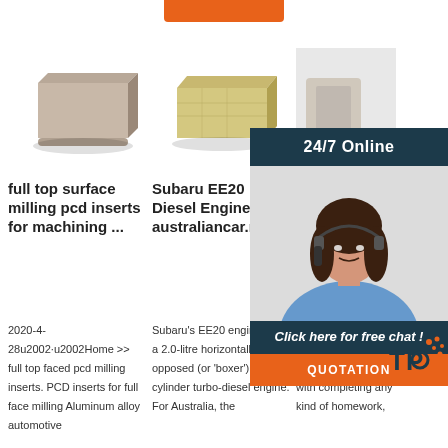[Figure (other): Orange button/bar at top center]
[Figure (photo): Gray/beige smooth brick or PCD insert product photo]
[Figure (photo): Rough stone or refractory brick product photo]
[Figure (photo): Partially visible product photo on right]
full top surface milling pcd inserts for machining ...
Subaru EE20 Diesel Engine - australiancar.reviews
Solut Essay provi home
2020-4-28u2002·u2002Home >> full top faced pcd milling inserts. PCD inserts for full face milling Aluminum alloy automotive
Subaru's EE20 engine was a 2.0-litre horizontally-opposed (or 'boxer') four-cylinder turbo-diesel engine. For Australia, the
Cheap writing sercice. If you need professional help with completing any kind of homework,
[Figure (photo): Online chat support advertisement with woman wearing headset, 24/7 Online banner, Click here for free chat!, QUOTATION button, and decorative dots logo]